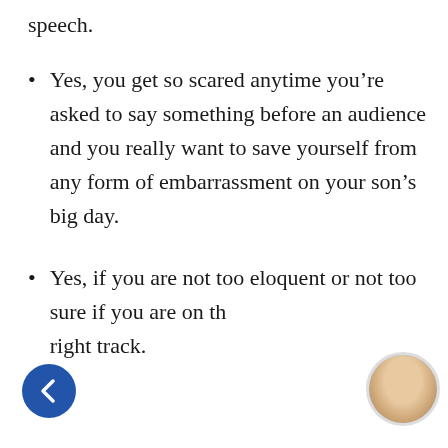speech.
Yes, you get so scared anytime you’re asked to say something before an audience and you really want to save yourself from any form of embarrassment on your son’s big day.
Yes, if you are not too eloquent or not too sure if you are on the right track.